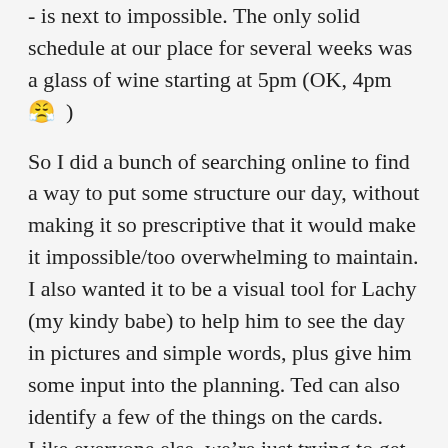- is next to impossible. The only solid schedule at our place for several weeks was a glass of wine starting at 5pm (OK, 4pm 😔  )
So I did a bunch of searching online to find a way to put some structure our day, without making it so prescriptive that it would make it impossible/too overwhelming to maintain. I also wanted it to be a visual tool for Lachy (my kindy babe) to help him to see the day in pictures and simple words, plus give him some input into the planning. Ted can also identify a few of the things on the cards. Like everyone else, we're just trying to get through this period as best we can. One thing I do know with certainty: once this is over I could never home school my kids!
Enter the 'Daily Task Cards'. These cards aren't my creation - these are FREE printables available online